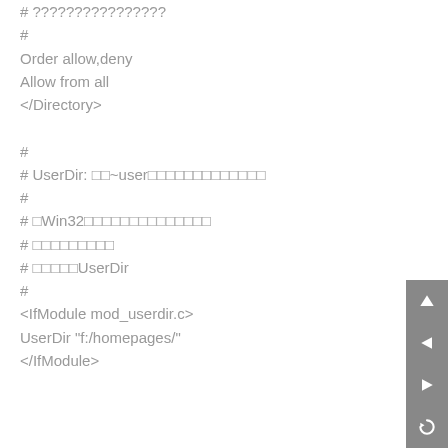# ????????????????
#
Order allow,deny
Allow from all
</Directory>
#
# UserDir: ??~user????????????????
#
# ?Win32???????????????????
# ??????????
# ?????UserDir
#
<IfModule mod_userdir.c>
UserDir "f:/homepages/"
</IfModule>